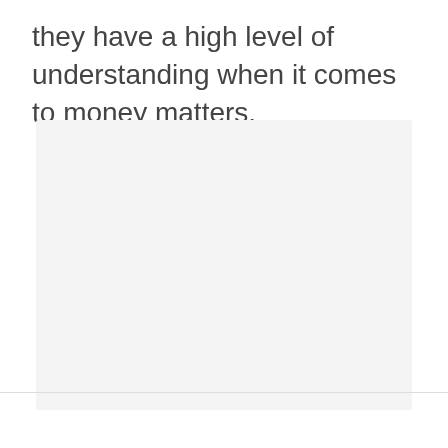they have a high level of understanding when it comes to money matters.
[Figure (other): A light gray placeholder/image box with no visible content.]